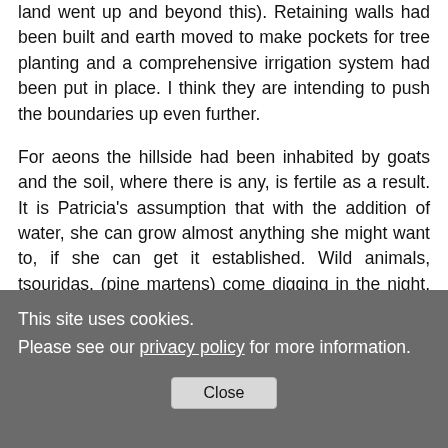land went up and beyond this). Retaining walls had been built and earth moved to make pockets for tree planting and a comprehensive irrigation system had been put in place. I think they are intending to push the boundaries up even further.
For aeons the hillside had been inhabited by goats and the soil, where there is any, is fertile as a result. It is Patricia's assumption that with the addition of water, she can grow almost anything she might want to, if she can get it established. Wild animals, tsouridas, (pine martens) come digging in the night, and leave a trail of destruction, digging up newly planted specimens. The ground had already been cleared of native scrub, but several ancient olive trees had
This site uses cookies.
Please see our privacy policy for more information.